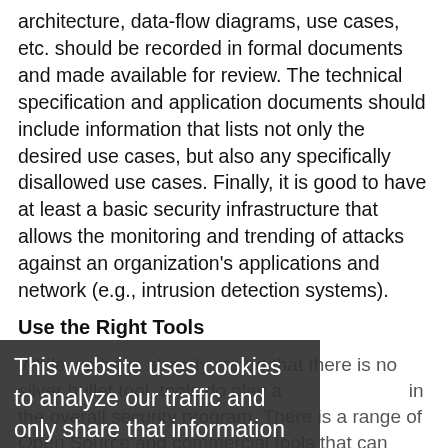architecture, data-flow diagrams, use cases, etc. should be recorded in formal documents and made available for review. The technical specification and application documents should include information that lists not only the desired use cases, but also any specifically disallowed use cases. Finally, it is good to have at least a basic security infrastructure that allows the monitoring and trending of attacks against an organization's applications and network (e.g., intrusion detection systems).
Use the Right Tools
While we have already stated that there is no silver bullet tool, tools do play a role in the overall security program. There is a range of Open Source and commercial tools that can
This website uses cookies to analyze our traffic and only share that information with our analytics partners.